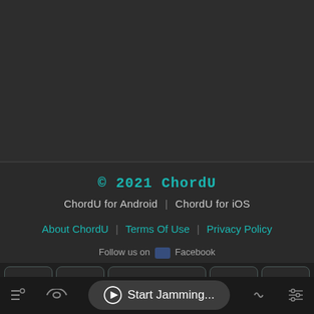[Figure (screenshot): Dark app background area, upper portion of a music app screen]
© 2021 ChordU
ChordU for Android  |  ChordU for iOS
About ChordU  |  Terms Of Use  |  Privacy Policy
Follow us on  [Facebook icon]  Facebook
[Figure (screenshot): Row of chord selector buttons (5 buttons, center one wider, all dark with rounded corners)]
▶ Start Jamming...